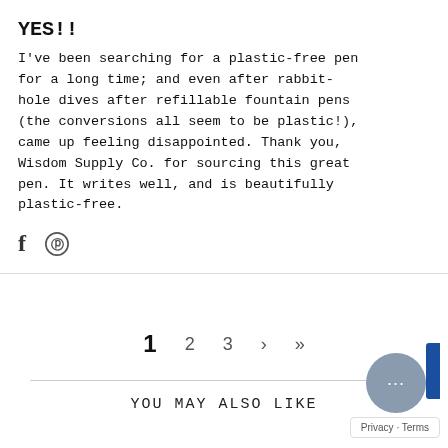YES!!
I've been searching for a plastic-free pen for a long time; and even after rabbit-hole dives after refillable fountain pens (the conversions all seem to be plastic!), came up feeling disappointed. Thank you, Wisdom Supply Co. for sourcing this great pen. It writes well, and is beautifully plastic-free.
[Figure (other): Social share icons: Facebook (f) and Pinterest (circled P)]
1  2  3  >  >>
YOU MAY ALSO LIKE
[Figure (other): Chat widget bubble with ellipsis and partial blue element, with Privacy - Terms bar]